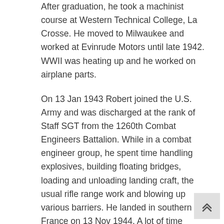After graduation, he took a machinist course at Western Technical College, La Crosse. He moved to Milwaukee and worked at Evinrude Motors until late 1942. WWII was heating up and he worked on airplane parts.
On 13 Jan 1943 Robert joined the U.S. Army and was discharged at the rank of Staff SGT from the 1260th Combat Engineers Battalion. While in a combat engineer group, he spent time handling explosives, building floating bridges, loading and unloading landing craft, the usual rifle range work and blowing up various barriers. He landed in southern France on 13 Nov 1944. A lot of time